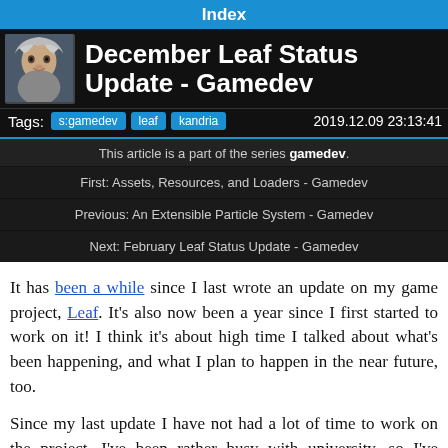Index
December Leaf Status Update - Gamedev
Tags: s:gamedev  leaf  kandria    2019.12.09 23:13:41
This article is a part of the series gamedev.
First: Assets, Resources, and Loaders - Gamedev
Previous: An Extensible Particle System - Gamedev
Next: February Leaf Status Update - Gamedev
It has been a while since I last wrote an update on my game project, Leaf. It's also now been a year since I first started to work on it! I think it's about high time I talked about what's been happening, and what I plan to happen in the near future, too.
Since my last update I have not had a lot of time to work on the project. I've been rather busy with university, so I've mostly constrained working on the games to Saturdays, when I go to Zürindies to hack on my game along with some other indie developers. Because of this, Saturday has become my favourite day